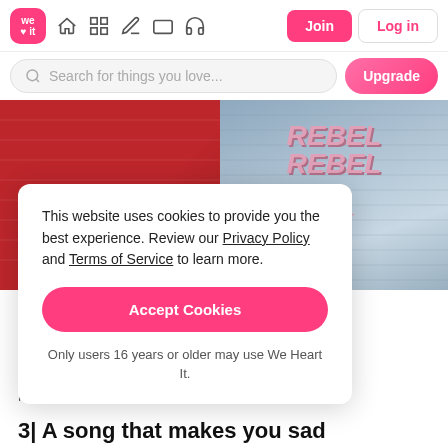we heart it — navigation bar with Join and Log in buttons
Search for things you love...
[Figure (photo): Two photos side by side: left is a red fabric/shirt with text 'REBEL WITH A CAUSE' printed on it; right is a denim jacket with 'REBEL REBEL' text in pink retro lettering on the back]
This website uses cookies to provide you the best experience. Review our Privacy Policy and Terms of Service to learn more.

[Accept Cookies button]

Only users 16 years or older may use We Heart It.
...ress."
No — Meghan Trainor
3| A song that makes you sad